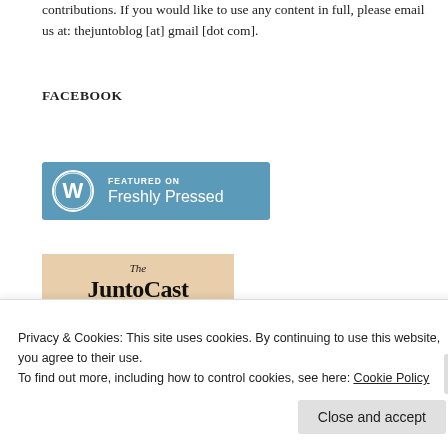contributions. If you would like to use any content in full, please email us at: thejuntoblog [at] gmail [dot com].
FACEBOOK
[Figure (logo): WordPress 'Featured on Freshly Pressed' badge — blue rectangle with WordPress circle logo on left and text 'FEATURED ON Freshly Pressed' in white on right]
[Figure (illustration): JuntoCast podcast logo — tan/beige background with italic 'The' above bold serif 'JuntoCast' text]
Privacy & Cookies: This site uses cookies. By continuing to use this website, you agree to their use.
To find out more, including how to control cookies, see here: Cookie Policy
Close and accept